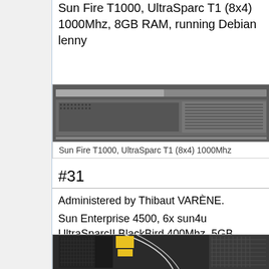Sun Fire T1000, UltraSparc T1 (8x4) 1000Mhz, 8GB RAM, running Debian lenny
[Figure (photo): Sun Fire T1000 server rack unit, 1U form factor, silver/gray color with ventilation holes]
Sun Fire T1000, UltraSparc T1 (8x4) 1000Mhz
#31
Administered by Thibaut VARÈNE.
Sun Enterprise 4500, 6x sun4u UltraSparcII BlackBird 400Mhz, 5GB RAM, running Debian lenny
[Figure (photo): Sun Enterprise 4500 server tower, dark black chassis with cables visible]